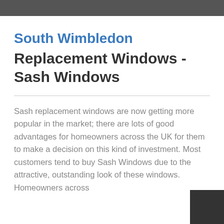South Wimbledon Replacement Windows - Sash Windows
Sash replacement windows are now getting more popular in the market; there are lots of good advantages for homeowners across the UK for them to make a decision on this kind of investment. Most customers tend to buy Sash Windows due to the attractive, outstanding look of these windows. Homeowners across